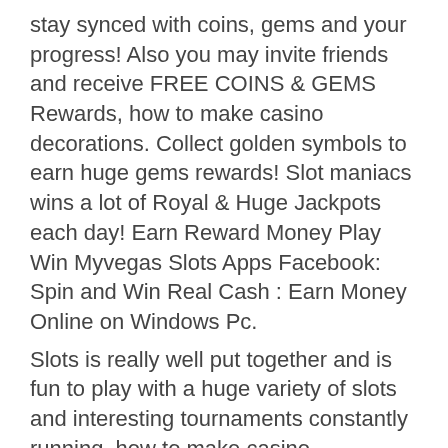stay synced with coins, gems and your progress! Also you may invite friends and receive FREE COINS & GEMS Rewards, how to make casino decorations. Collect golden symbols to earn huge gems rewards! Slot maniacs wins a lot of Royal & Huge Jackpots each day! Earn Reward Money Play Win Myvegas Slots Apps Facebook: Spin and Win Real Cash : Earn Money Online on Windows Pc.
Slots is really well put together and is fun to play with a huge variety of slots and interesting tournaments constantly running, how to make casino decorations.
Pick games with the highest RTP (95-99%, as this implies most money wagered on the games go back to paying winners. Live dealers in canadian online casinos allow you to play blackjack, poker and several other games against fellow gamblers, how to make casino decorations. If you're a confident